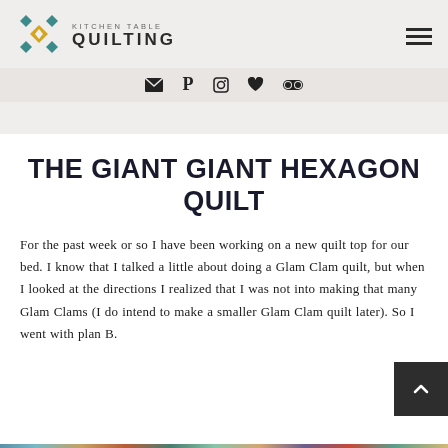KITCHEN TABLE QUILTING
[Figure (logo): Kitchen Table Quilting logo with geometric diamond/square quilt pattern in teal, gold, and gray colors]
Social media icons: email, Pinterest, Instagram, heart/Bloglovin, Flickr
THE GIANT GIANT HEXAGON QUILT
For the past week or so I have been working on a new quilt top for our bed. I know that I talked a little about doing a Glam Clam quilt, but when I looked at the directions I realized that I was not into making that many Glam Clams (I do intend to make a smaller Glam Clam quilt later). So I went with plan B.